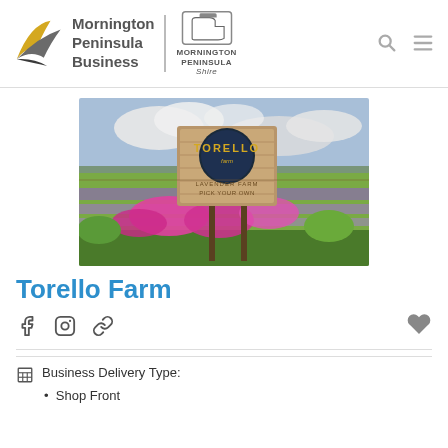[Figure (logo): Mornington Peninsula Business logo with stylized wing/leaf graphic in grey and yellow, text 'Mornington Peninsula Business', divider, Mornington Peninsula Shire logo]
[Figure (photo): Photo of Torello Farm sign surrounded by colorful flowers and lavender fields under a cloudy sky]
Torello Farm
[Figure (infographic): Social media icons: Facebook, Instagram, link/URL icon, and a heart/favourite icon]
Business Delivery Type:
Shop Front